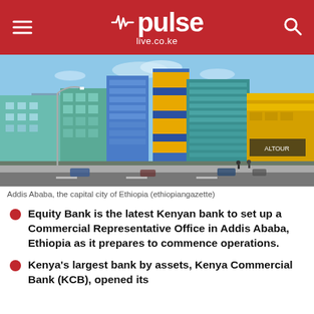pulse live.co.ke
[Figure (photo): Street view of Addis Ababa city centre showing modern commercial buildings with blue glass facades and a yellow-striped tower, with street lamps and vehicles in the foreground.]
Addis Ababa, the capital city of Ethiopia (ethiopiangazette)
Equity Bank is the latest Kenyan bank to set up a Commercial Representative Office in Addis Ababa, Ethiopia as it prepares to commence operations.
Kenya's largest bank by assets, Kenya Commercial Bank (KCB), opened its